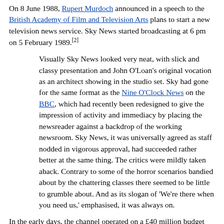On 8 June 1988, Rupert Murdoch announced in a speech to the British Academy of Film and Television Arts plans to start a new television news service. Sky News started broadcasting at 6 pm on 5 February 1989.[2]
Visually Sky News looked very neat, with slick and classy presentation and John O'Loan's original vocation as an architect showing in the studio set. Sky had gone for the same format as the Nine O'Clock News on the BBC, which had recently been redesigned to give the impression of activity and immediacy by placing the newsreader against a backdrop of the working newsroom. Sky News, it was universally agreed as staff nodded in vigorous approval, had succeeded rather better at the same thing. The critics were mildly taken aback. Contrary to some of the horror scenarios bandied about by the chattering classes there seemed to be little to grumble about. And as its slogan of 'We're there when you need us,' emphasised, it was always on.
In the early days, the channel operated on a £40 million budget (plus £10 million share of overheads), which led Sam Chisholm, chief executive of the newly merged BSkyB, to suggest to Murdoch that the station be closed, but Murdoch was "pleased with